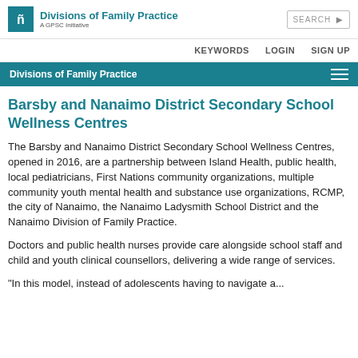Divisions of Family Practice — A GPSC Initiative
Barsby and Nanaimo District Secondary School Wellness Centres
The Barsby and Nanaimo District Secondary School Wellness Centres, opened in 2016, are a partnership between Island Health, public health, local pediatricians, First Nations community organizations, multiple community youth mental health and substance use organizations, RCMP, the city of Nanaimo, the Nanaimo Ladysmith School District and the Nanaimo Division of Family Practice.
Doctors and public health nurses provide care alongside school staff and child and youth clinical counsellors, delivering a wide range of services.
"In this model, instead of adolescents having to navigate a...